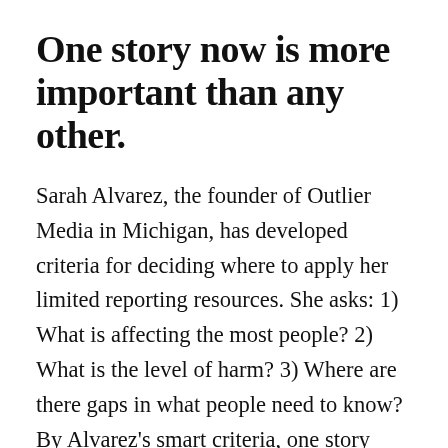One story now is more important than any other.
Sarah Alvarez, the founder of Outlier Media in Michigan, has developed criteria for deciding where to apply her limited reporting resources. She asks: 1) What is affecting the most people? 2) What is the level of harm? 3) Where are there gaps in what people need to know? By Alvarez's smart criteria, one story matters most today: the pandemic.